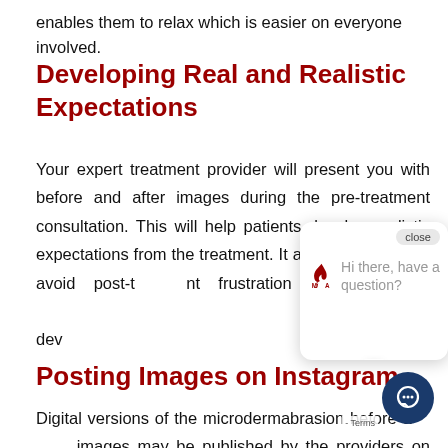enables them to relax which is easier on everyone involved.
Developing Real and Realistic Expectations
Your expert treatment provider will present you with before and after images during the pre-treatment consultation. This will help patients develop realistic expectations from the treatment. It also helps patients avoid post-treatment frustration and unrealistic expectations developed...
Posting Images on Instagram
Digital versions of the microdermabrasion before and after images may be published by the providers on their...